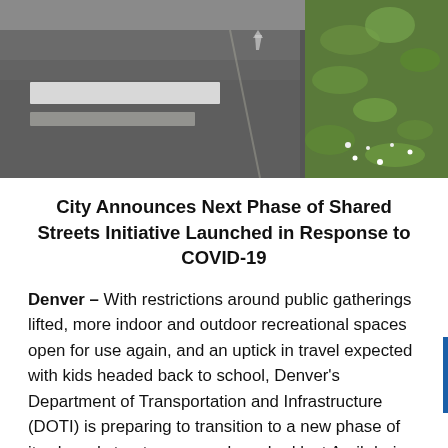[Figure (photo): Aerial or ground-level view of a road/street intersection showing asphalt pavement with white crosswalk markings and green grass/plants visible on the right side.]
City Announces Next Phase of Shared Streets Initiative Launched in Response to COVID-19
Denver – With restrictions around public gatherings lifted, more indoor and outdoor recreational spaces open for use again, and an uptick in travel expected with kids headed back to school, Denver's Department of Transportation and Infrastructure (DOTI) is preparing to transition to a new phase of its shared streets program launched last April during the pandemic, with safety for all being the number one